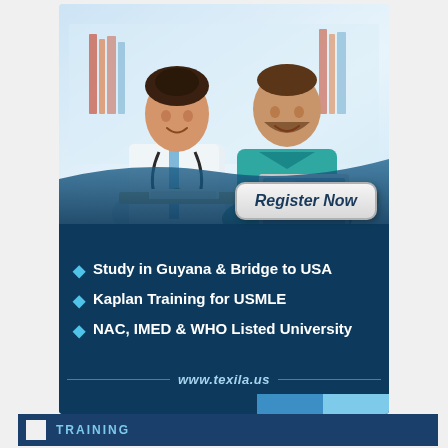[Figure (photo): Advertisement for Texila American University. Top half shows two smiling medical professionals (a female doctor in white coat with stethoscope and a male nurse in teal scrubs) sitting at a desk with a laptop. Background is bright clinic interior. A 'Register Now' button overlays the lower right of the photo. Dark navy blue lower section lists three bullet points with diamond icons and a website URL.]
Study in Guyana & Bridge to USA
Kaplan Training for USMLE
NAC, IMED & WHO Listed University
www.texila.us
TRAINING